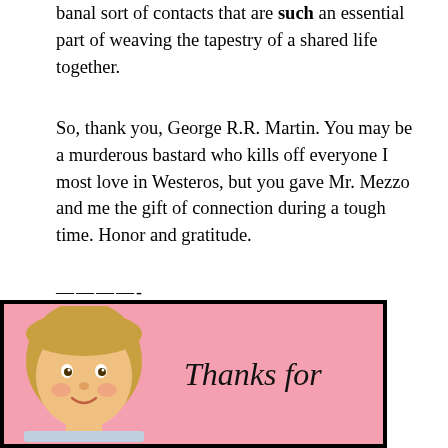banal sort of contacts that are such an essential part of weaving the tapestry of a shared life together.
So, thank you, George R.R. Martin. You may be a murderous bastard who kills off everyone I most love in Westeros, but you gave Mr. Mezzo and me the gift of connection during a tough time. Honor and gratitude.
————-
Image credit:
[Figure (photo): A vintage-style image with a pink background showing a child's face on the left side and the text 'Thanks for' in a handwritten-style font on the right side.]